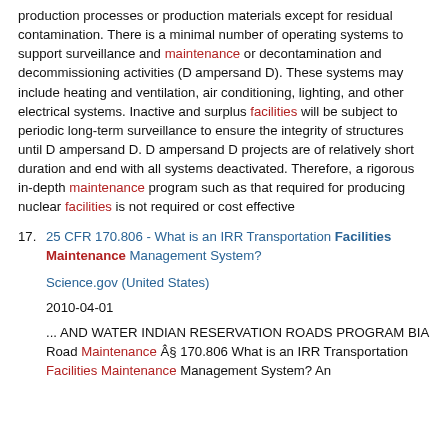production processes or production materials except for residual contamination. There is a minimal number of operating systems to support surveillance and maintenance or decontamination and decommissioning activities (D ampersand D). These systems may include heating and ventilation, air conditioning, lighting, and other electrical systems. Inactive and surplus facilities will be subject to periodic long-term surveillance to ensure the integrity of structures until D ampersand D. D ampersand D projects are of relatively short duration and end with all systems deactivated. Therefore, a rigorous in-depth maintenance program such as that required for producing nuclear facilities is not required or cost effective
17. 25 CFR 170.806 - What is an IRR Transportation Facilities Maintenance Management System?
Science.gov (United States)
2010-04-01
... AND WATER INDIAN RESERVATION ROADS PROGRAM BIA Road Maintenance § 170.806 What is an IRR Transportation Facilities Maintenance Management System? An